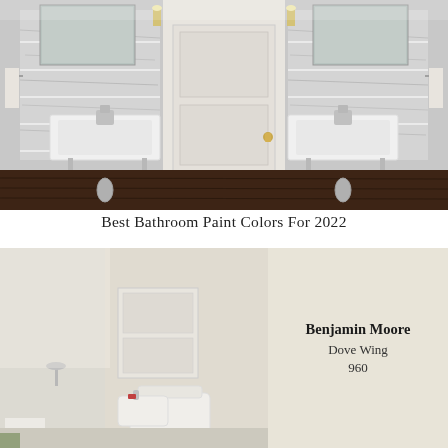[Figure (photo): Elegant bathroom with double white pedestal sinks on chrome metal legs, marble subway tile walls, dark hardwood floor, rectangular mirrors, wall sconces, and a white paneled door with brass hardware in the center]
Best Bathroom Paint Colors For 2022
[Figure (photo): Bright white bathroom with shower area, toilet, and sink visible, with light streaming through a window; paired with a Benjamin Moore Dove Wing 960 paint color swatch in a warm off-white/cream tone]